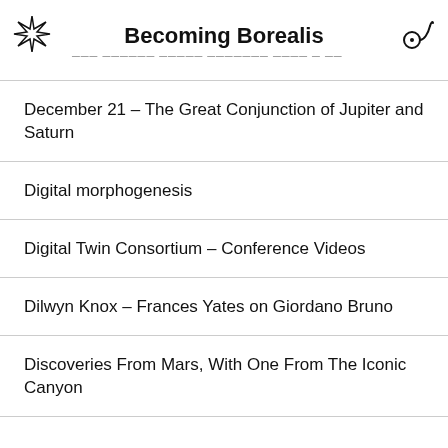Becoming Borealis
December 21 – The Great Conjunction of Jupiter and Saturn
Digital morphogenesis
Digital Twin Consortium – Conference Videos
Dilwyn Knox – Frances Yates on Giordano Bruno
Discoveries From Mars, With One From The Iconic Canyon